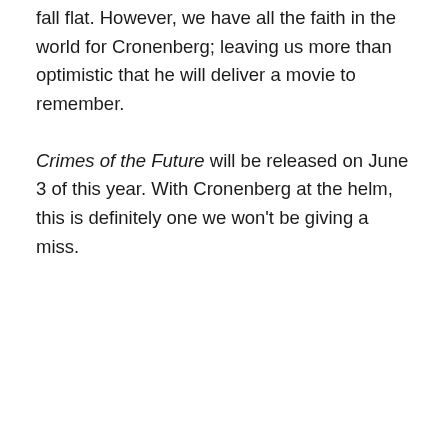fall flat. However, we have all the faith in the world for Cronenberg; leaving us more than optimistic that he will deliver a movie to remember.
Crimes of the Future will be released on June 3 of this year. With Cronenberg at the helm, this is definitely one we won't be giving a miss.